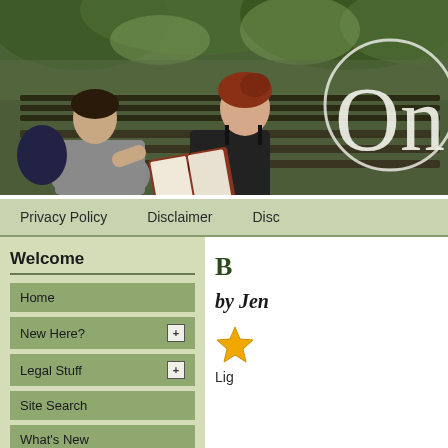[Figure (photo): Photograph of two people sitting on a park bench reading a book together, with green trees in background. Overlaid text says 'One' in large serif font with a circular border.]
Privacy Policy    Disclaimer    Disc
Welcome
Home
New Here?
Legal Stuff
Site Search
What's New
Follow @OneGoodBook
B
by Jen
[Figure (illustration): Gold star icon]
Lig